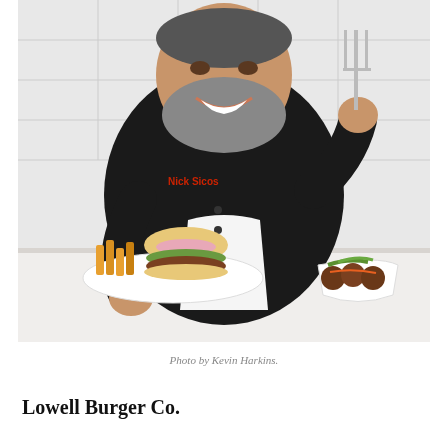[Figure (photo): A smiling bearded chef in a black chef's coat with 'Nick Sicos' embroidered in red, holding a knife and fork over a table with a plate containing a burger with fries and a bowl of meatballs with garnishes.]
Photo by Kevin Harkins.
Lowell Burger Co.